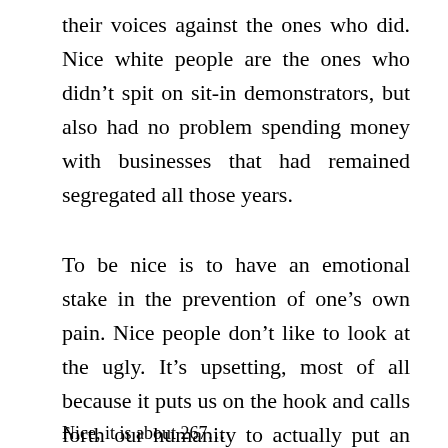their voices against the ones who did. Nice white people are the ones who didn't spit on sit-in demonstrators, but also had no problem spending money with businesses that had remained segregated all those years.
To be nice is to have an emotional stake in the prevention of one's own pain. Nice people don't like to look at the ugly. It's upsetting, most of all because it puts us on the hook and calls forth our humanity to actually put an end to that pain…
Nice, it is about 267...